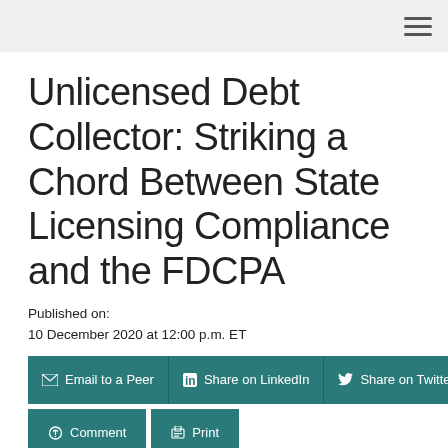Unlicensed Debt Collector: Striking a Chord Between State Licensing Compliance and the FDCPA
Published on:
10 December 2020 at 12:00 p.m. ET
Email to a Peer | Share on LinkedIn | Share on Twitter | Comment | Print